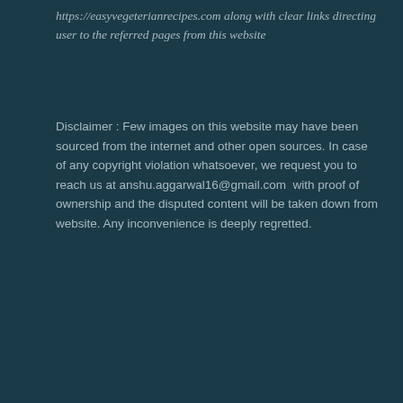https://easyvegeterianrecipes.com along with clear links directing user to the referred pages from this website
Disclaimer : Few images on this website may have been sourced from the internet and other open sources. In case of any copyright violation whatsoever, we request you to reach us at anshu.aggarwal16@gmail.com  with proof of ownership and the disputed content will be taken down from website. Any inconvenience is deeply regretted.